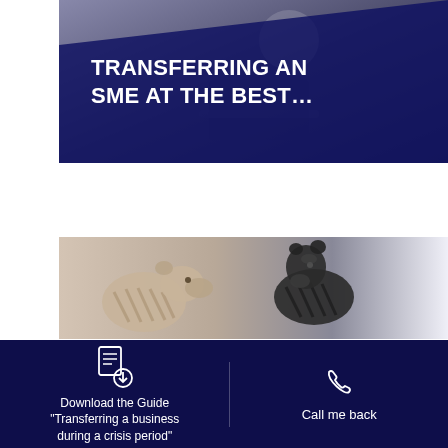[Figure (photo): Photo of a person at a desk with laptop, overlaid with dark navy blue translucent shape. Bold white uppercase text reads TRANSFERRING AN SME AT THE BEST...]
TRANSFERRING AN SME AT THE BEST...
[Figure (photo): Close-up photo of two chess bear/animal figurines facing each other — one light/tan colored, one dark/black — against a light blurred background.]
Download the Guide "Transferring a business during a crisis period"
Call me back